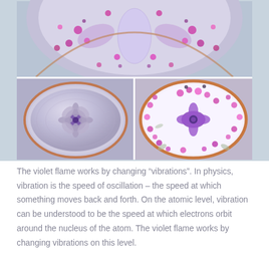[Figure (photo): Three photos of decorative floral crystal/enamel disc objects. Top photo shows a large fan-shaped piece with pink and purple flowers and crystal elements on a light blue background. Bottom-left shows a metallic silver disc with a flower center and copper/rose-gold border on a light background. Bottom-right shows a white enamel disc with scattered pink/purple flowers and a purple floral center, with a copper/rose-gold border.]
The violet flame works by changing “vibrations”. In physics, vibration is the speed of oscillation – the speed at which something moves back and forth. On the atomic level, vibration can be understood to be the speed at which electrons orbit around the nucleus of the atom. The violet flame works by changing vibrations on this level.